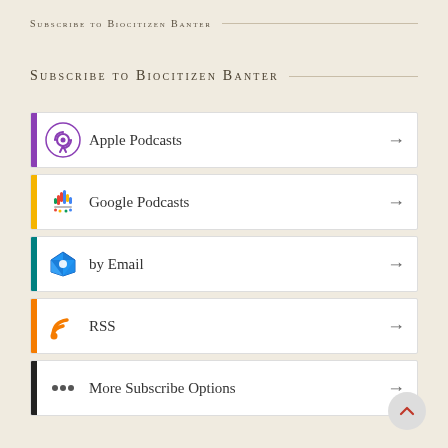SUBSCRIBE TO BIOCITIZEN BANTER
SUBSCRIBE TO BIOCITIZEN BANTER
Apple Podcasts
Google Podcasts
by Email
RSS
More Subscribe Options